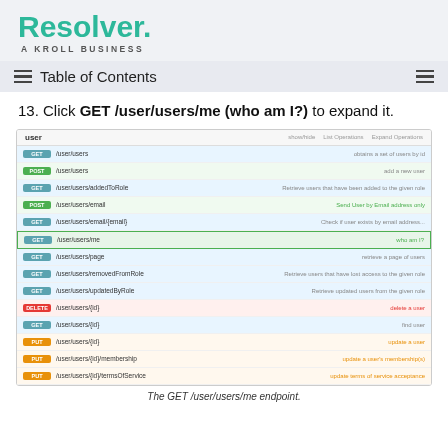Resolver. A KROLL BUSINESS
Table of Contents
13. Click GET /user/users/me (who am I?) to expand it.
[Figure (screenshot): API endpoint list showing user endpoints with GET, POST, PUT, DELETE method badges. The GET /user/users/me row is highlighted in green with border, showing 'who am I?' description.]
The GET /user/users/me endpoint.